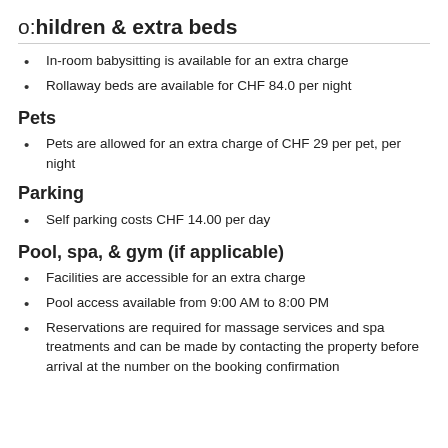Children & extra beds
In-room babysitting is available for an extra charge
Rollaway beds are available for CHF 84.0 per night
Pets
Pets are allowed for an extra charge of CHF 29 per pet, per night
Parking
Self parking costs CHF 14.00 per day
Pool, spa, & gym (if applicable)
Facilities are accessible for an extra charge
Pool access available from 9:00 AM to 8:00 PM
Reservations are required for massage services and spa treatments and can be made by contacting the property before arrival at the number on the booking confirmation